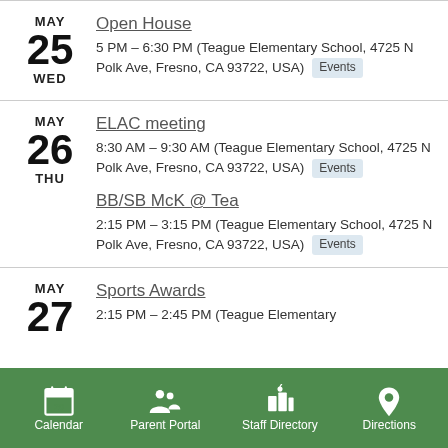MAY 25 WED — Open House — 5 PM – 6:30 PM (Teague Elementary School, 4725 N Polk Ave, Fresno, CA 93722, USA) Events
MAY 26 THU — ELAC meeting — 8:30 AM – 9:30 AM (Teague Elementary School, 4725 N Polk Ave, Fresno, CA 93722, USA) Events
MAY 26 THU — BB/SB McK @ Tea — 2:15 PM – 3:15 PM (Teague Elementary School, 4725 N Polk Ave, Fresno, CA 93722, USA) Events
MAY 27 — Sports Awards — 2:15 PM – 2:45 PM (Teague Elementary...
Calendar | Parent Portal | Staff Directory | Directions